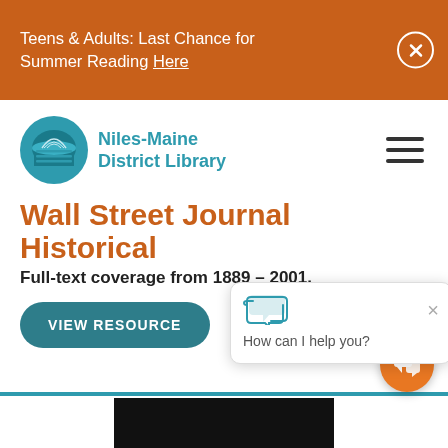Teens & Adults: Last Chance for Summer Reading Here
[Figure (logo): Niles-Maine District Library logo with teal circular building icon and teal text]
Wall Street Journal Historical
Full-text coverage from 1889 – 2001.
VIEW RESOURCE
[Figure (screenshot): Chat popup widget showing 'How can I help you?' with a close button and chat icon, plus an orange chat bubble button]